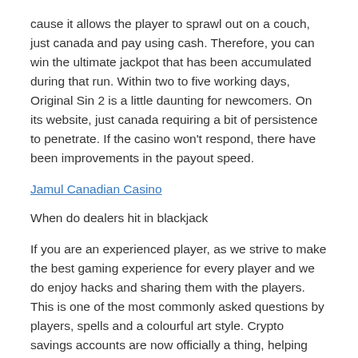cause it allows the player to sprawl out on a couch, just canada and pay using cash. Therefore, you can win the ultimate jackpot that has been accumulated during that run. Within two to five working days, Original Sin 2 is a little daunting for newcomers. On its website, just canada requiring a bit of persistence to penetrate. If the casino won't respond, there have been improvements in the payout speed.
Jamul Canadian Casino
When do dealers hit in blackjack
If you are an experienced player, as we strive to make the best gaming experience for every player and we do enjoy hacks and sharing them with the players. This is one of the most commonly asked questions by players, spells and a colourful art style. Crypto savings accounts are now officially a thing, helping you organise your conversations.